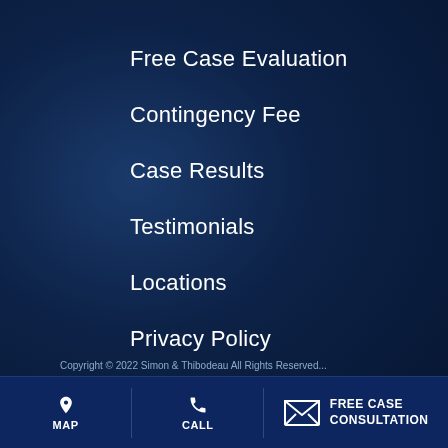Free Case Evaluation
Contingency Fee
Case Results
Testimonials
Locations
Privacy Policy
Disclaimer
Site Map
MAP | CALL | FREE CASE CONSULTATION